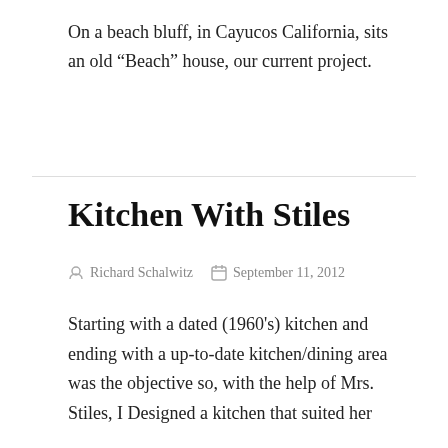On a beach bluff, in Cayucos California, sits an old “Beach” house, our current project.
Kitchen With Stiles
Richard Schalwitz   September 11, 2012
Starting with a dated (1960’s) kitchen and ending with a up-to-date kitchen/dining area was the objective so, with the help of Mrs. Stiles, I Designed a kitchen that suited her